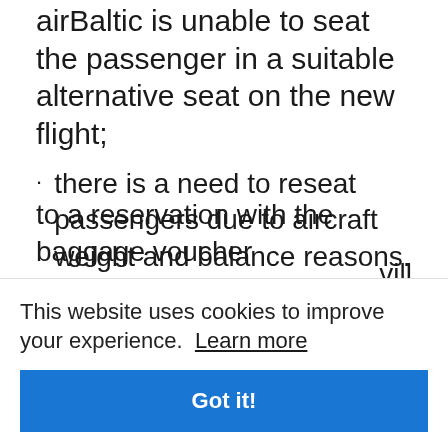airBaltic is unable to seat the passenger in a suitable alternative seat on the new flight;
there is a need to reseat passengers due to aircraft weight and balance reasons.
Heavy cabin baggage voucher rules
The heavy cabin baggage voucher code will be added to the booking and linked to the baggage voucher
to a reservation with the baggage voucher
This website uses cookies to improve your experience. Learn more
Got it!